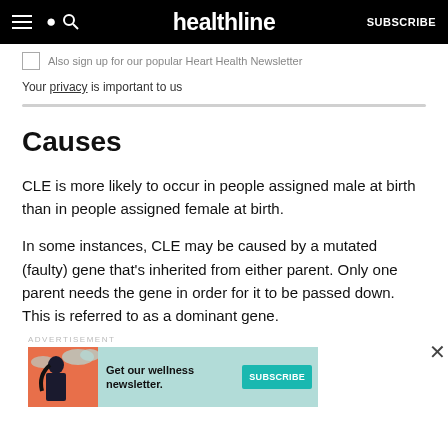healthline | SUBSCRIBE
Also sign up for our popular Heart Health Newsletter
Your privacy is important to us
Causes
CLE is more likely to occur in people assigned male at birth than in people assigned female at birth.
In some instances, CLE may be caused by a mutated (faulty) gene that's inherited from either parent. Only one parent needs the gene in order for it to be passed down. This is referred to as a dominant gene.
[Figure (infographic): Advertisement banner for Healthline wellness newsletter with teal background, illustrated woman figure on orange background, text 'Get our wellness newsletter.' and a teal SUBSCRIBE button]